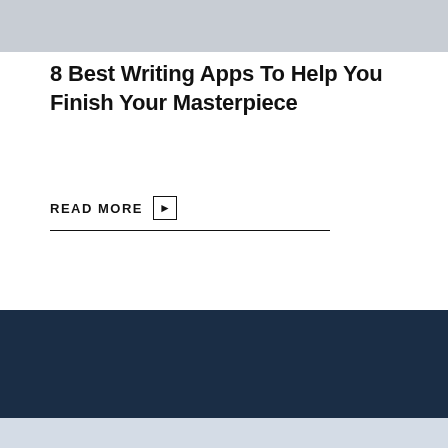[Figure (photo): Light grey/beige photograph banner at the top of the page]
8 Best Writing Apps To Help You Finish Your Masterpiece
READ MORE ▶